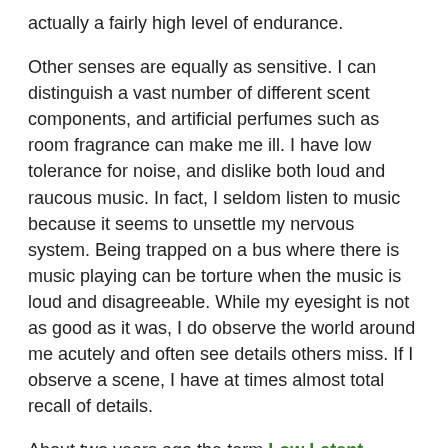actually a fairly high level of endurance.
Other senses are equally as sensitive. I can distinguish a vast number of different scent components, and artificial perfumes such as room fragrance can make me ill. I have low tolerance for noise, and dislike both loud and raucous music. In fact, I seldom listen to music because it seems to unsettle my nervous system. Being trapped on a bus where there is music playing can be torture when the music is loud and disagreeable. While my eyesight is not as good as it was, I do observe the world around me acutely and often see details others miss. If I observe a scene, I have at times almost total recall of details.
About two years ago the term Low Latent Inhibition came to my attention and it rang a lot of bells for me. Normally, people tune out the vast majority of incoming information from their senses, not ever becoming consciously aware of it. Those with low latent inhibition tend to find that they take in pretty much all of the information